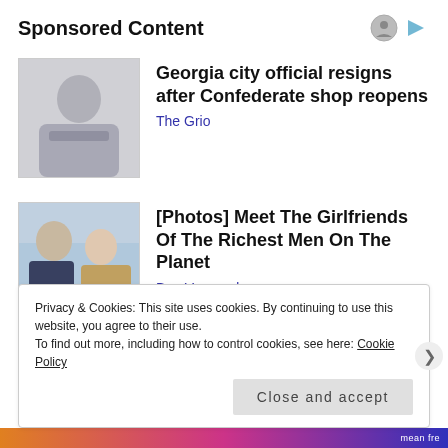Sponsored Content
[Figure (photo): Photo of an elderly man in a suit and tie]
Georgia city official resigns after Confederate shop reopens
The Grio
[Figure (photo): Photo of a man and woman at an event]
[Photos] Meet The Girlfriends Of The Richest Men On The Planet
Bon Voyaged
Privacy & Cookies: This site uses cookies. By continuing to use this website, you agree to their use.
To find out more, including how to control cookies, see here: Cookie Policy
Close and accept